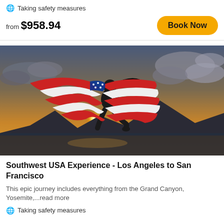Taking safety measures
from $958.94
Book Now
[Figure (photo): Person running and holding an American flag outstretched against a dramatic sunset sky with mountains and water in background]
Southwest USA Experience - Los Angeles to San Francisco
This epic journey includes everything from the Grand Canyon, Yosemite,...read more
Taking safety measures